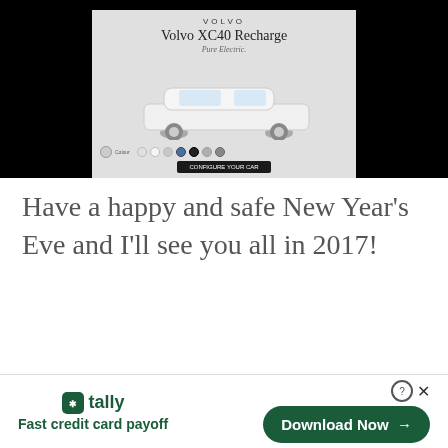[Figure (screenshot): Volvo XC40 Recharge advertisement banner showing car with color options and a call-to-action button]
Have a happy and safe New Year's Eve and I'll see you all in 2017!
[Figure (screenshot): Tally app advertisement banner with 'Fast credit card payoff' tagline and Download Now button]